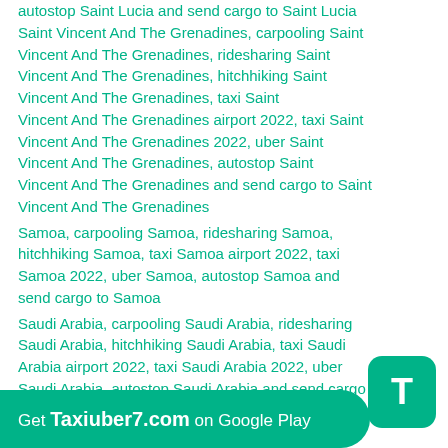autostop Saint Lucia and send cargo to Saint Lucia Saint Vincent And The Grenadines, carpooling Saint Vincent And The Grenadines, ridesharing Saint Vincent And The Grenadines, hitchhiking Saint Vincent And The Grenadines, taxi Saint Vincent And The Grenadines airport 2022, taxi Saint Vincent And The Grenadines 2022, uber Saint Vincent And The Grenadines, autostop Saint Vincent And The Grenadines and send cargo to Saint Vincent And The Grenadines
Samoa, carpooling Samoa, ridesharing Samoa, hitchhiking Samoa, taxi Samoa airport 2022, taxi Samoa 2022, uber Samoa, autostop Samoa and send cargo to Samoa
Saudi Arabia, carpooling Saudi Arabia, ridesharing Saudi Arabia, hitchhiking Saudi Arabia, taxi Saudi Arabia airport 2022, taxi Saudi Arabia 2022, uber Saudi Arabia, autostop Saudi Arabia and send cargo to Saudi Arabia
Senegal, carpooling Senegal, ridesharing Senegal, hitchhiking Senegal, taxi Senegal airport 2022, taxi
Get Taxiuber7.com on Google Play